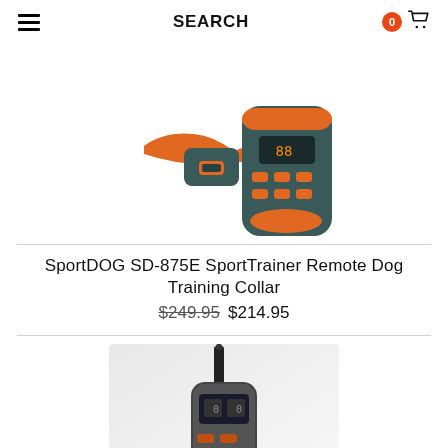SEARCH
[Figure (photo): SportDOG SD-875E SportTrainer Remote Dog Training Collar product photo showing orange collar and remote]
SportDOG SD-875E SportTrainer Remote Dog Training Collar
$249.95 $214.95
[Figure (photo): Second dog training collar product photo showing grey/black remote and collar unit]